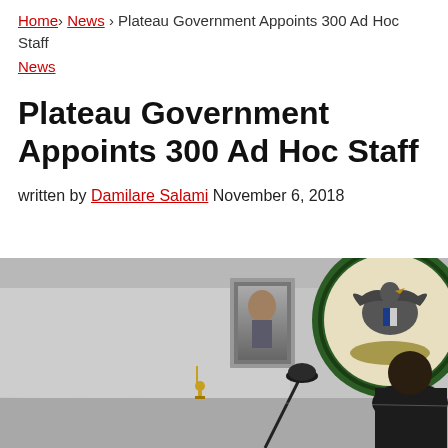Home > News > Plateau Government Appoints 300 Ad Hoc Staff
News
Plateau Government Appoints 300 Ad Hoc Staff
written by Damilare Salami  November 6, 2018
[Figure (photo): Interior room photo showing a large framed portrait on a white/gray wall, Nigerian coat of arms circular emblem on the right, a trophy/statue on a podium, and a microphone stand in the foreground with a dark-suited figure partially visible at the right edge.]